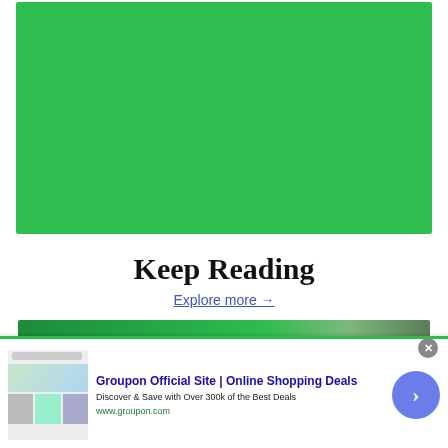[Figure (other): Large solid green rectangle placeholder image area]
Keep Reading
Explore more →
[Figure (screenshot): Advertisement banner: Groupon Official Site | Online Shopping Deals. Discover & Save with Over 300k of the Best Deals. www.groupon.com. With close button and navigation arrow.]